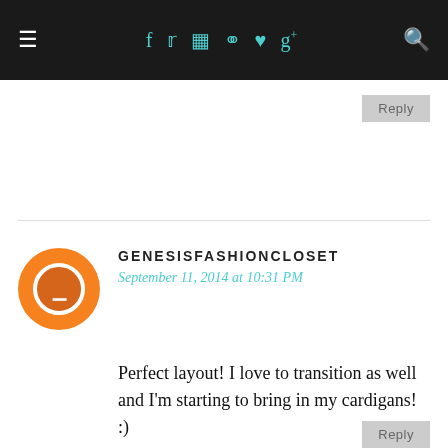≡  f  t  ⊡  ⊕  ♥  g+  🔍
Reply
[Figure (illustration): Orange circular Blogger avatar icon with white equal-sign symbol]
GENESISFASHIONCLOSET
September 11, 2014 at 10:31 PM
Perfect layout! I love to transition as well and I'm starting to bring in my cardigans! :)

genesisfashioncloset.blogspot.com

Check out my new post!
Reply